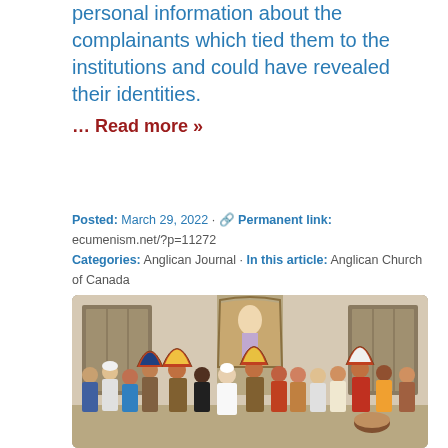personal information about the complainants which tied them to the institutions and could have revealed their identities.
... Read more »
Posted: March 29, 2022 · 🔗 Permanent link: ecumenism.net/?p=11272 Categories: Anglican Journal · In this article: Anglican Church of Canada
[Figure (photo): Group photo of Indigenous leaders in traditional regalia, including headdresses and traditional clothing, standing with a figure in white (likely the Pope) in an ornate room with religious artwork in the background.]